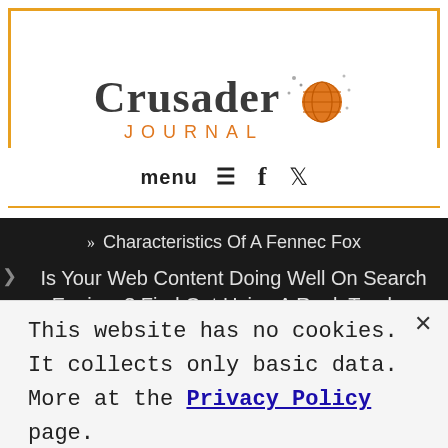[Figure (logo): Crusader Journal logo with globe icon]
menu ≡  f  🐦
» Characteristics Of A Fennec Fox
Is Your Web Content Doing Well On Search Engines? Find Out Using A Rank Tracker
» Do News Organizations Be On TikTok?
The Best Car Choice for Journalists – How to Find the Perfect
This website has no cookies. It collects only basic data. More at the Privacy Policy page.